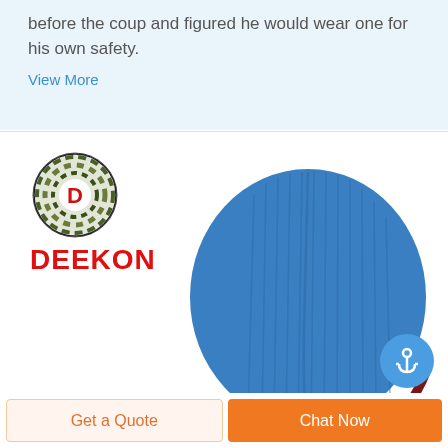before the coup and figured he would wear one for his own safety.
View More
[Figure (logo): Deekon brand logo: circular camouflage-patterned target with red letter D in center, and DEEKON text in bold red below]
[Figure (photo): Blue ribbed knit balaclava ski mask hat with dark red/maroon trim around the face opening, viewed from the back/side angle]
Get a Quote
Chat Now